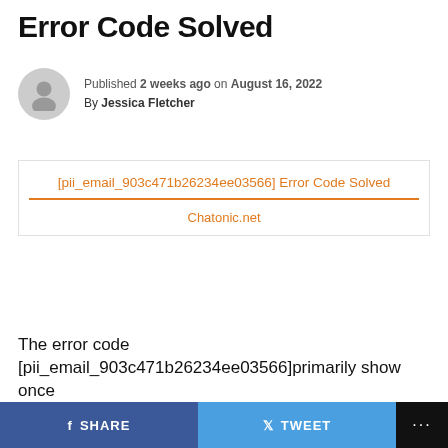Error Code Solved
Published 2 weeks ago on August 16, 2022
By Jessica Fletcher
[Figure (screenshot): A screenshot or embedded content block showing '[pii_email_903c471b26234ee03566] Error Code Solved' as a link in orange, with an orange horizontal divider, and 'Chatonic.net' in orange below.]
The error code [pii_email_903c471b26234ee03566]primarily show once
SHARE   TWEET   ...